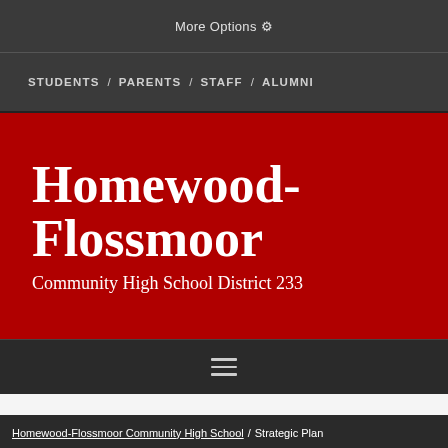More Options ⚙
STUDENTS / PARENTS / STAFF / ALUMNI
Homewood-Flossmoor Community High School District 233
[Figure (screenshot): Hamburger menu icon (three horizontal lines) on dark background]
Homewood-Flossmoor Community High School / Strategic Plan